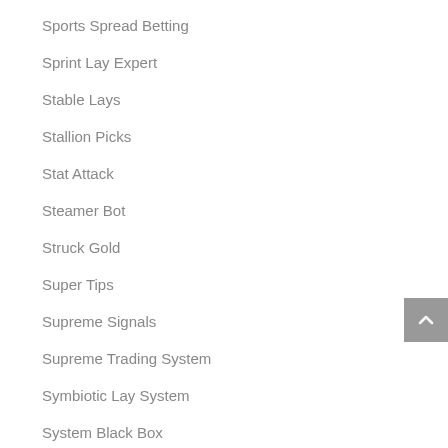Sports Spread Betting
Sprint Lay Expert
Stable Lays
Stallion Picks
Stat Attack
Steamer Bot
Struck Gold
Super Tips
Supreme Signals
Supreme Trading System
Symbiotic Lay System
System Black Box
System X Trader
Tams Racing Tips